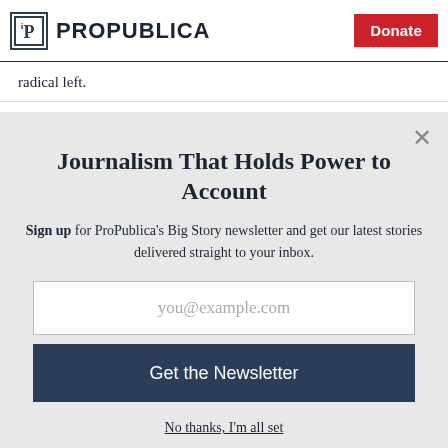ProPublica — Donate
radical left.
Journalism That Holds Power to Account
Sign up for ProPublica's Big Story newsletter and get our latest stories delivered straight to your inbox.
you@example.com
Get the Newsletter
No thanks, I'm all set
This site is protected by reCAPTCHA and the Google Privacy Policy and Terms of Service apply.